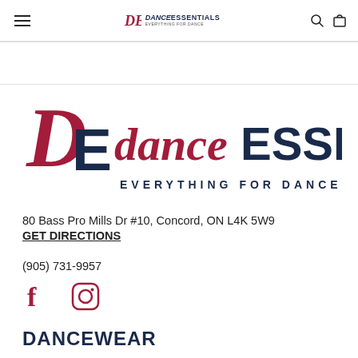Dance Essentials — Everything for Dance (header navigation)
[Figure (logo): Dance Essentials logo — large stylized DE monogram in crimson script with navy ESSENTIALS text and tagline EVERYTHING FOR DANCE.]
80 Bass Pro Mills Dr #10, Concord, ON L4K 5W9
GET DIRECTIONS
(905) 731-9957
[Figure (other): Facebook and Instagram social media icons in crimson]
DANCEWEAR